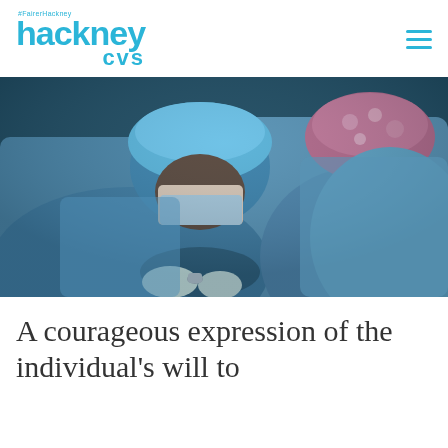hackney cvs #FairerHackney
[Figure (photo): Two surgeons in blue surgical gowns, caps, and masks performing an operation. The foreground surgeon is bending over the patient, wearing blue scrubs and a blue surgical cap. Another surgeon in a floral surgical cap is visible in the background.]
A courageous expression of the individual's will to